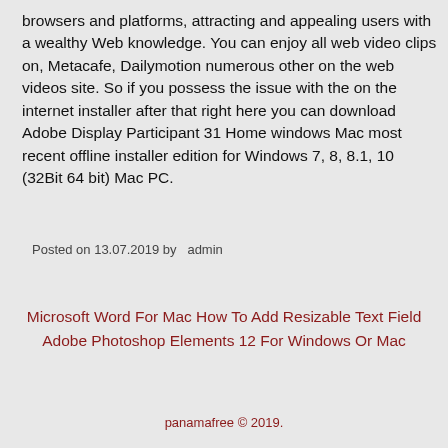browsers and platforms, attracting and appealing users with a wealthy Web knowledge. You can enjoy all web video clips on, Metacafe, Dailymotion numerous other on the web videos site. So if you possess the issue with the on the internet installer after that right here you can download Adobe Display Participant 31 Home windows Mac most recent offline installer edition for Windows 7, 8, 8.1, 10 (32Bit 64 bit) Mac PC.
Posted on 13.07.2019 by  admin
Microsoft Word For Mac How To Add Resizable Text Field
Adobe Photoshop Elements 12 For Windows Or Mac
panamafree © 2019.